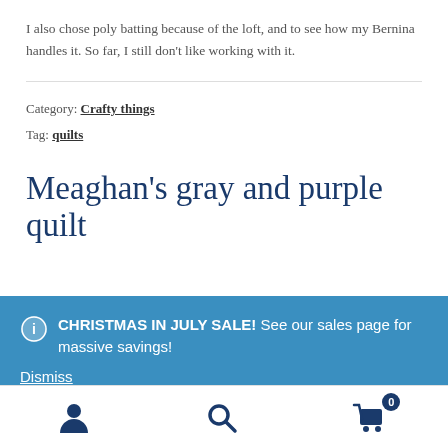I also chose poly batting because of the loft, and to see how my Bernina handles it. So far, I still don't like working with it.
Category: Crafty things
Tag: quilts
Meaghan's gray and purple quilt
CHRISTMAS IN JULY SALE! See our sales page for massive savings! Dismiss
YAY!! I finally finished Meaghan's quilt this week. Her